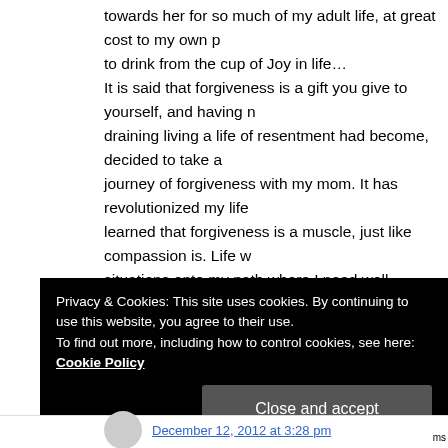towards her for so much of my adult life, at great cost to my own p to drink from the cup of Joy in life… It is said that forgiveness is a gift you give to yourself, and having n draining living a life of resentment had become, decided to take a journey of forgiveness with my mom. It has revolutionized my life learned that forgiveness is a muscle, just like compassion is. Life w situations onto my path where I need well conditioned muscles t an open heart. We HSP's have been given the task of transforming alchemists of sorts, taking on highly charged and seemingly nega turning them into pathways of transformation, for both ourselves easy stuff, but once one tastes the rewards you see how liberating Here's hoping that 2013 brings us all to a deeper level of inner pe freedom to truly know joy-
Privacy & Cookies: This site uses cookies. By continuing to use this website, you agree to their use. To find out more, including how to control cookies, see here: Cookie Policy
December 12, 2012 at 3:28 pm